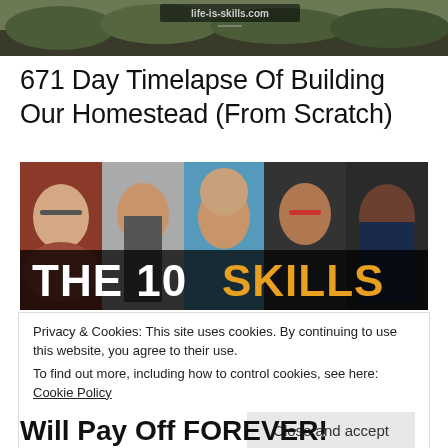[Figure (photo): Outdoor/nature scene with partial URL text overlay at top]
671 Day Timelapse Of Building Our Homestead (From Scratch)
[Figure (photo): Collage of five men's faces with bold text overlay reading 'THE 10 SKILLS']
Privacy & Cookies: This site uses cookies. By continuing to use this website, you agree to their use.
To find out more, including how to control cookies, see here: Cookie Policy
Close and accept
Will Pay Off FOREVER!